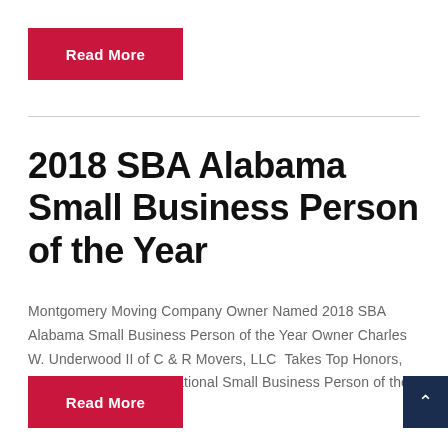[Figure (other): Red 'Read More' button at top of page]
2018 SBA Alabama Small Business Person of the Year
Montgomery Moving Company Owner Named 2018 SBA Alabama Small Business Person of the Year Owner Charles W. Underwood II of C & R Movers, LLC  Takes Top Honors, Finalist for 2018 SBA National Small Business Person of the Year, Celebration...
[Figure (other): Red 'Read More' button at bottom of page]
[Figure (other): Dark navy scroll-to-top button with chevron icon at bottom right]